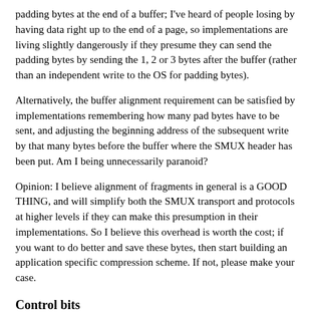padding bytes at the end of a buffer; I've heard of people losing by having data right up to the end of a page, so implementations are living slightly dangerously if they presume they can send the padding bytes by sending the 1, 2 or 3 bytes after the buffer (rather than an independent write to the OS for padding bytes).
Alternatively, the buffer alignment requirement can be satisfied by implementations remembering how many pad bytes have to be sent, and adjusting the beginning address of the subsequent write by that many bytes before the buffer where the SMUX header has been put. Am I being unnecessarily paranoid?
Opinion: I believe alignment of fragments in general is a GOOD THING, and will simplify both the SMUX transport and protocols at higher levels if they can make this presumption in their implementations. So I believe this overhead is worth the cost; if you want to do better and save these bytes, then start building an application specific compression scheme. If not, please make your case.
Control bits
Are the four bits defined in Simon's flags field what we need? Are there any others?